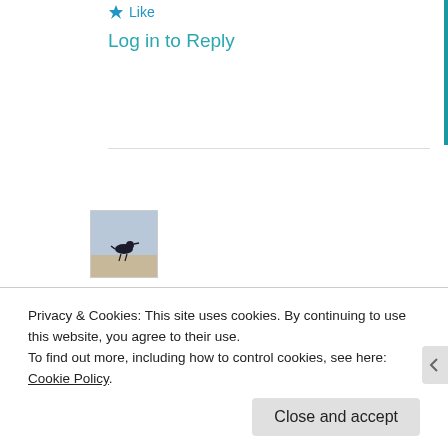★ Like
Log in to Reply
[Figure (photo): User avatar thumbnail showing a bird silhouette (shorebird) on a beach/misty background]
tw · May 31, 2014
Privacy & Cookies: This site uses cookies. By continuing to use this website, you agree to their use.
To find out more, including how to control cookies, see here: Cookie Policy
Close and accept